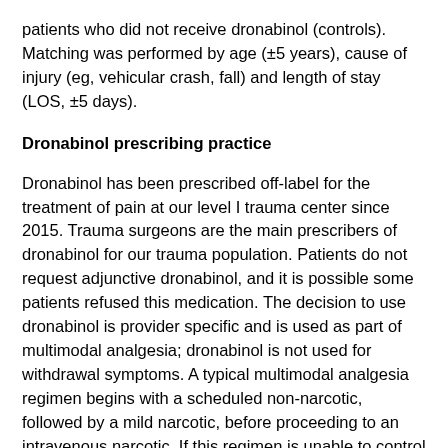patients who did not receive dronabinol (controls). Matching was performed by age (±5 years), cause of injury (eg, vehicular crash, fall) and length of stay (LOS, ±5 days).
Dronabinol prescribing practice
Dronabinol has been prescribed off-label for the treatment of pain at our level I trauma center since 2015. Trauma surgeons are the main prescribers of dronabinol for our trauma population. Patients do not request adjunctive dronabinol, and it is possible some patients refused this medication. The decision to use dronabinol is provider specific and is used as part of multimodal analgesia; dronabinol is not used for withdrawal symptoms. A typical multimodal analgesia regimen begins with a scheduled non-narcotic, followed by a mild narcotic, before proceeding to an intravenous narcotic. If this regimen is unable to control the patient's pain, then adjunctive dronabinol may be offered based on provider preference. At the time of the study, antineuropathics (gabapentin) and muscle relaxants